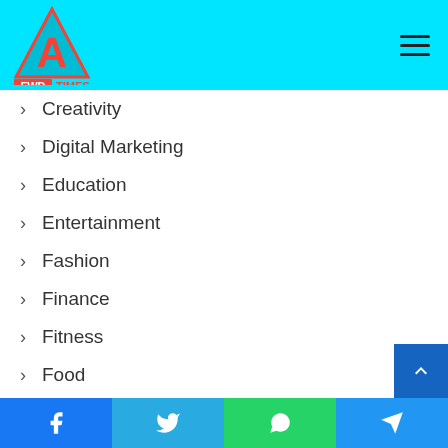FWD TIMES
Creativity
Digital Marketing
Education
Entertainment
Fashion
Finance
Fitness
Food
Game
Health
Home Improvement
Facebook | Twitter | WhatsApp | Telegram